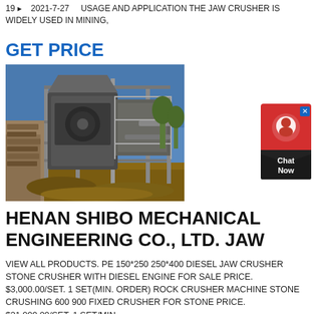19 ▸   2021-7-27    USAGE AND APPLICATION THE JAW CRUSHER IS WIDELY USED IN MINING,
GET PRICE
[Figure (photo): Outdoor photo of a large industrial jaw crusher machine mounted on a steel frame structure, with blue sky in background and rocky terrain below.]
[Figure (infographic): Red chat widget button with headset icon and 'Chat Now' label on dark background.]
HENAN SHIBO MECHANICAL ENGINEERING CO., LTD. JAW
VIEW ALL PRODUCTS. PE 150*250 250*400 DIESEL JAW CRUSHER STONE CRUSHER WITH DIESEL ENGINE FOR SALE PRICE. $3,000.00/SET. 1 SET(MIN. ORDER) ROCK CRUSHER MACHINE STONE CRUSHING 600 900 FIXED CRUSHER FOR STONE PRICE. $21,000.00/SET. 1 SET/MIN.